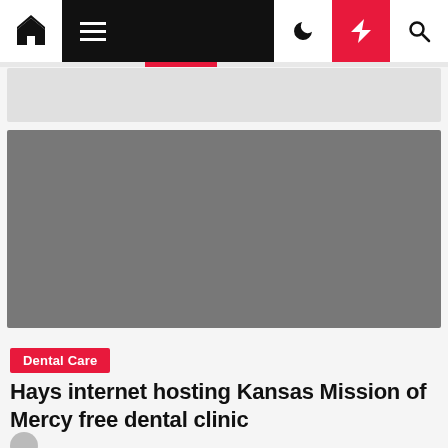Navigation bar with home, menu, dark mode, lightning/breaking news, and search icons
[Figure (photo): Gray placeholder image for article hero photo]
Dental Care
Hays internet hosting Kansas Mission of Mercy free dental clinic